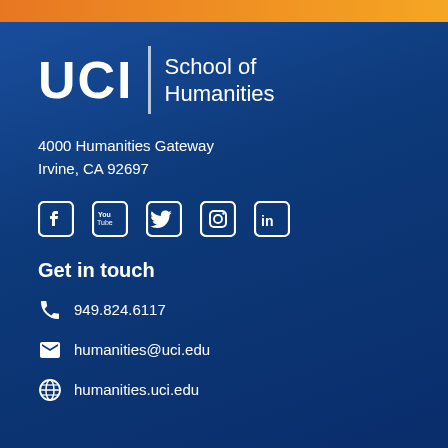[Figure (logo): UCI School of Humanities logo with orange bar at top on dark blue background]
UCI School of Humanities
4000 Humanities Gateway
Irvine, CA 92697
[Figure (infographic): Social media icons: Facebook, YouTube, Twitter, Instagram, LinkedIn]
Get in touch
949.824.6117
humanities@uci.edu
humanities.uci.edu